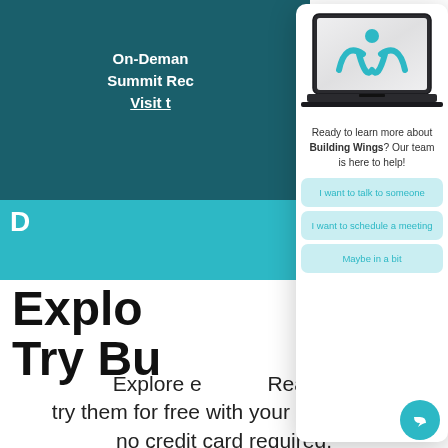On-Demand Summit Reco... Visit t...
Explo... Try Bu...
Explore e... Readto... try them for free with your students—no credit card required.
[Figure (screenshot): Modal popup card with a laptop image showing the Building Wings logo (teal person/wings icon), text 'Ready to learn more about Building Wings? Our team is here to help!', and three teal buttons: 'I want to talk to someone', 'I want to schedule a meeting', 'Maybe in a bit']